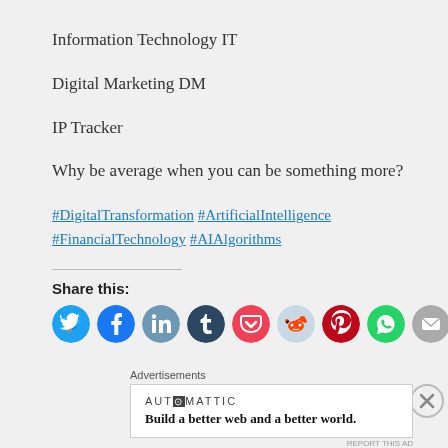Information Technology IT
Digital Marketing DM
IP Tracker
Why be average when you can be something more?
#DigitalTransformation #ArtificialIntelligence #FinancialTechnology #AIAlgorithms
Share this:
[Figure (infographic): Row of social media share icons: Twitter (blue), Facebook (blue), LinkedIn (blue-grey), Tumblr (dark blue), Pocket (red), Reddit (light blue), Pinterest (red), WhatsApp (green), Email (grey), Telegram (blue)]
Advertisements
[Figure (screenshot): Automattic advertisement: 'Build a better web and a better world.']